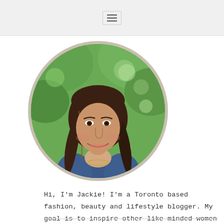☰
[Figure (photo): Circular portrait photo of Jackie, a young woman with long wavy brunette hair with highlights, wearing a denim jacket, smiling, set against a bokeh green outdoor background. The photo is framed in a circle with a tan/beige border.]
Hi, I'm Jackie! I'm a Toronto based fashion, beauty and lifestyle blogger. My goal is to inspire other like-minded women live a more beautiful life. Read More...